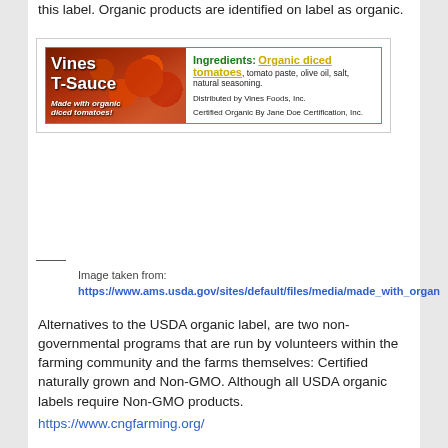this label. Organic products are identified on label as organic.
[Figure (illustration): Product label for 'Vines T-Sauce' showing tomatoes on left side with text 'Made with organic diced tomatoes!' and on the right side: Ingredients listing organic diced tomatoes, tomato paste, olive oil, salt, natural seasoning. Distributed by Vines Foods, Inc. Certified Organic By Jane Doe Certification, Inc.]
Image taken from:
https://www.ams.usda.gov/sites/default/files/media/made_with_organ
Alternatives to the USDA organic label, are two non-governmental programs that are run by volunteers within the farming community and the farms themselves: Certified naturally grown and Non-GMO. Although all USDA organic labels require Non-GMO products.
https://www.cngfarming.org/